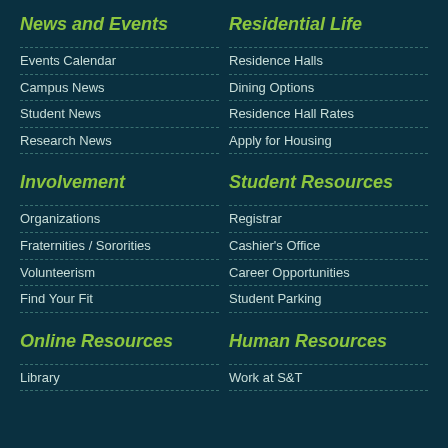News and Events
Events Calendar
Campus News
Student News
Research News
Residential Life
Residence Halls
Dining Options
Residence Hall Rates
Apply for Housing
Involvement
Organizations
Fraternities / Sororities
Volunteerism
Find Your Fit
Student Resources
Registrar
Cashier's Office
Career Opportunities
Student Parking
Online Resources
Library
Human Resources
Work at S&T